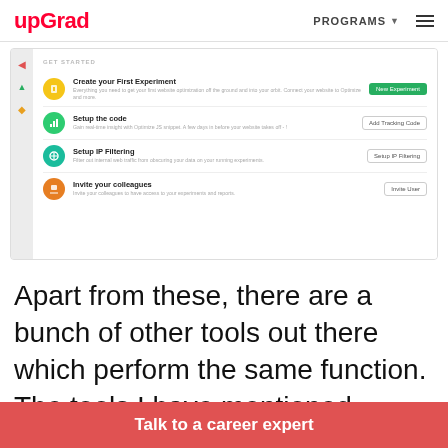upGrad | PROGRAMS
[Figure (screenshot): Screenshot of a web application onboarding screen with sections: Create your First Experiment (green button: New Experiment), Setup the code (button: Add Tracking Code), Setup IP Filtering (button: Setup IP Filtering), Invite your colleagues (button: Invite User)]
Apart from these, there are a bunch of other tools out there which perform the same function. The tools I have mentioned above only help in
Talk to a career expert